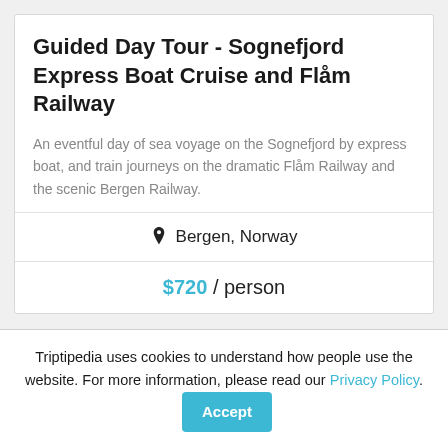Guided Day Tour - Sognefjord Express Boat Cruise and Flåm Railway
An eventful day of sea voyage on the Sognefjord by express boat, and train journeys on the dramatic Flåm Railway and the scenic Bergen Railway.
Bergen, Norway
$720 / person
Triptipedia uses cookies to understand how people use the website. For more information, please read our Privacy Policy. Accept